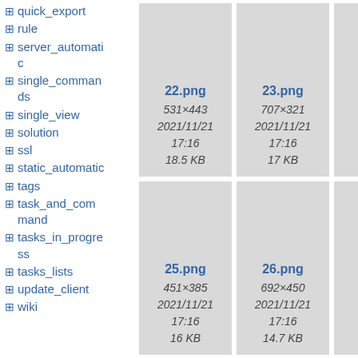+ quick_export
+ rule
+ server_automatic
+ single_commands
+ single_view
+ solution
+ ssl
+ static_automatic
+ tags
+ task_and_command
+ tasks_in_progress
+ tasks_lists
+ update_client
+ wiki
[Figure (screenshot): Thumbnail for 22.png, 531x443, 2021/11/21 17:16, 18.5 KB]
[Figure (screenshot): Thumbnail for 23.png, 707x321, 2021/11/21 17:16, 17 KB]
[Figure (screenshot): Thumbnail for 25.png, 451x385, 2021/11/21 17:16, 16 KB]
[Figure (screenshot): Thumbnail for 26.png, 692x450, 2021/11/21 17:16, 14.7 KB]